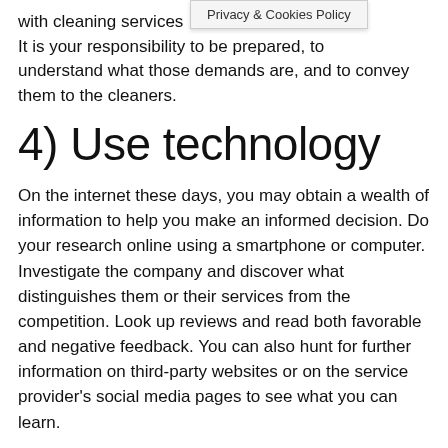with cleaning services r needs. It is your responsibility to be prepared, to understand what those demands are, and to convey them to the cleaners.
[Figure (other): Privacy & Cookies Policy tooltip/banner overlay]
4) Use technology
On the internet these days, you may obtain a wealth of information to help you make an informed decision. Do your research online using a smartphone or computer. Investigate the company and discover what distinguishes them or their services from the competition. Look up reviews and read both favorable and negative feedback. You can also hunt for further information on third-party websites or on the service provider's social media pages to see what you can learn.